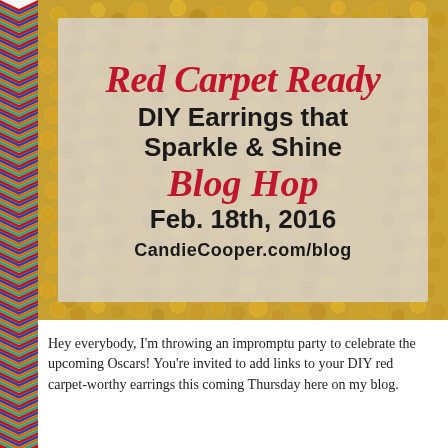[Figure (illustration): Decorative chevron/arrow border on the left side of the page with multicolor repeating chevron pattern (red, blue, orange, teal, etc.)]
[Figure (photo): Close-up photo of gold/metallic sequins as background behind the frosted text overlay]
Red Carpet Ready DIY Earrings that Sparkle & Shine Blog Hop Feb. 18th, 2016 CandieCooper.com/blog
Hey everybody, I'm throwing an impromptu party to celebrate the upcoming Oscars!  You're invited to add links to your DIY red carpet-worthy earrings this coming Thursday here on my blog.